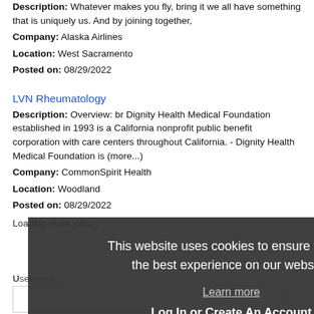Description: Whatever makes you fly, bring it we all have something that is uniquely us. And by joining together,
Company: Alaska Airlines
Location: West Sacramento
Posted on: 08/29/2022
LVN Rheumatology
Description: Overview: br Dignity Health Medical Foundation established in 1993 is a California nonprofit public benefit corporation with care centers throughout California. - Dignity Health Medical Foundation is (more...)
Company: CommonSpirit Health
Location: Woodland
Posted on: 08/29/2022
Loading more jobs...
This website uses cookies to ensure you get the best experience on our website.
Learn more
Log In or Create An Account
Username:
Got it!